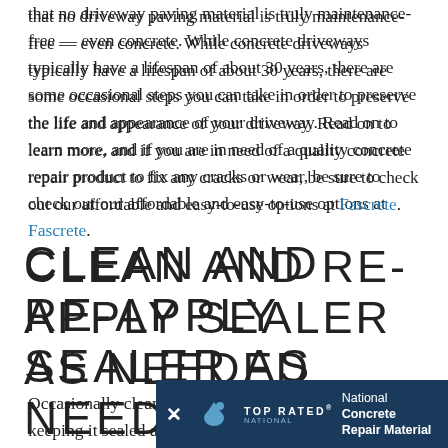that no driveway paving material is truly maintenance-free — even concrete. While concrete driveways typically have a lifespan of about 30 years, there are some occasional steps you can take in order to preserve the life and appearance of your driveway. Read on to learn more, and if you are in need of a quality concrete repair product to fix any cracks or wear, be sure to check out our affordable and easy-to-use options at Fascrete.
CLEAN AND RE-APPLY SEALER AS NEEDED
Occasionally cleaning your concrete driveway and keeping it sealed are a couple of the best measures that you can take in order to keep it looking its best. How often you should take these weather conditio
[Figure (infographic): Advertisement banner for Top Rated National Concrete Repair Material with close button, bird logo, TOP RATED NATIONAL text, and ad copy.]